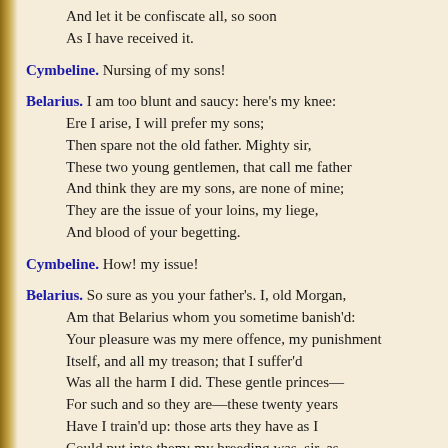And let it be confiscate all, so soon As I have received it.
Cymbeline. Nursing of my sons!
Belarius. I am too blunt and saucy: here's my knee: Ere I arise, I will prefer my sons; Then spare not the old father. Mighty sir, These two young gentlemen, that call me father And think they are my sons, are none of mine; They are the issue of your loins, my liege, And blood of your begetting.
Cymbeline. How! my issue!
Belarius. So sure as you your father's. I, old Morgan, Am that Belarius whom you sometime banish'd: Your pleasure was my mere offence, my punishment Itself, and all my treason; that I suffer'd Was all the harm I did. These gentle princes— For such and so they are—these twenty years Have I train'd up: those arts they have as I Could put into them; my breeding was, sir, as Your highness knows. Their nurse, Euriphile, Whom for the theft I wedded, stole these children Upon my banishment: I moved her to't, Having received the punishment before,